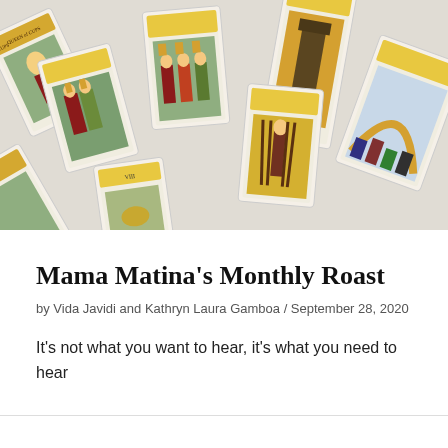[Figure (photo): A spread of tarot cards laid out diagonally on a white surface, including the Queen of Cups card, cups cards, and other illustrated tarot cards with colorful artwork.]
Mama Matina’s Monthly Roast
by Vida Javidi and Kathryn Laura Gamboa / September 28, 2020
It’s not what you want to hear, it’s what you need to hear